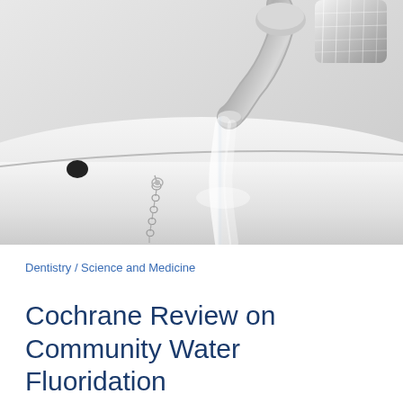[Figure (photo): Black and white close-up photo of a chrome bathroom faucet running water into a white sink basin, with a sink plug chain visible on the left side.]
Dentistry / Science and Medicine
Cochrane Review on Community Water Fluoridation